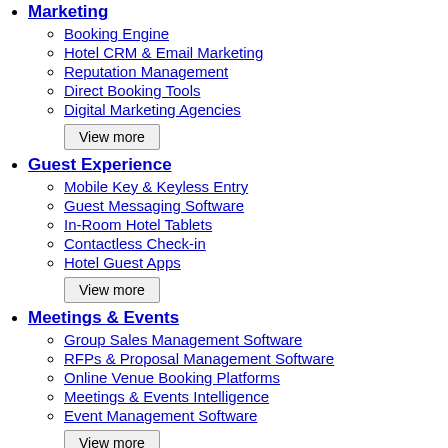Marketing
Booking Engine
Hotel CRM & Email Marketing
Reputation Management
Direct Booking Tools
Digital Marketing Agencies
View more
Guest Experience
Mobile Key & Keyless Entry
Guest Messaging Software
In-Room Hotel Tablets
Contactless Check-in
Hotel Guest Apps
View more
Meetings & Events
Group Sales Management Software
RFPs & Proposal Management Software
Online Venue Booking Platforms
Meetings & Events Intelligence
Event Management Software
View more
IT & Building Management
Preventive Maintenance Software
Energy Management Systems
Property Management Software (partial)